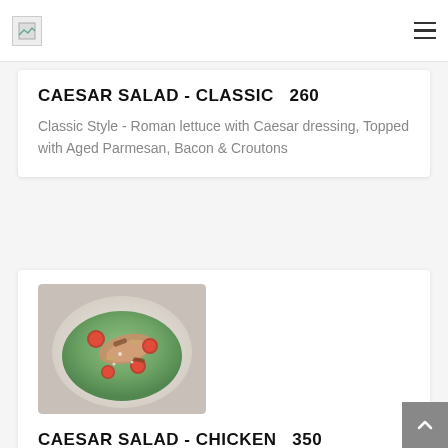Restaurant menu page header with logo and hamburger menu icon
CAESAR SALAD - CLASSIC   260
Classic Style - Roman lettuce with Caesar dressing, Topped with Aged Parmesan, Bacon & Croutons
[Figure (photo): Photo of a salad bowl with grilled chicken, cherry tomatoes, greens, and dressing on a white plate]
CAESAR SALAD - CHICKEN   350